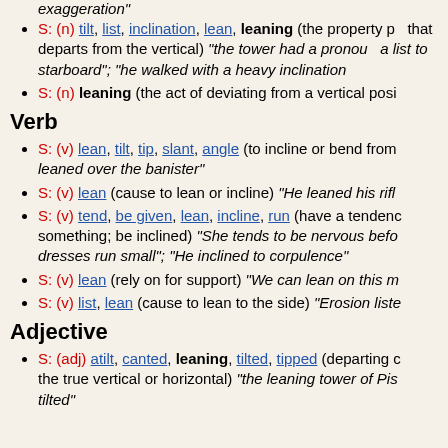exaggeration"
S: (n) tilt, list, inclination, lean, leaning (the property po... that departs from the vertical) "the tower had a pronoun... a list to starboard"; "he walked with a heavy inclination...
S: (n) leaning (the act of deviating from a vertical posi...
Verb
S: (v) lean, tilt, tip, slant, angle (to incline or bend from... leaned over the banister"
S: (v) lean (cause to lean or incline) "He leaned his rife...
S: (v) tend, be given, lean, incline, run (have a tendenc... something; be inclined) "She tends to be nervous befo... dresses run small"; "He inclined to corpulence"
S: (v) lean (rely on for support) "We can lean on this m...
S: (v) list, lean (cause to lean to the side) "Erosion liste...
Adjective
S: (adj) atilt, canted, leaning, tilted, tipped (departing c... the true vertical or horizontal) "the leaning tower of Pis... tilted"